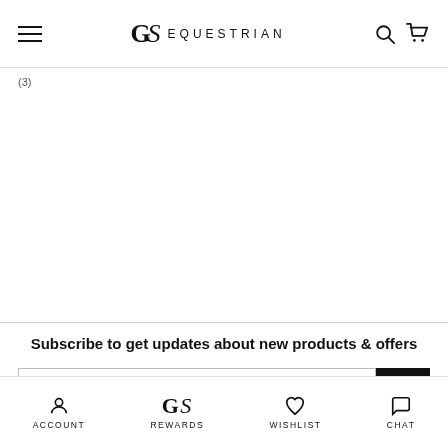GS EQUESTRIAN
(3)
Subscribe to get updates about new products & offers
ACCOUNT  REWARDS  WISHLIST  CHAT